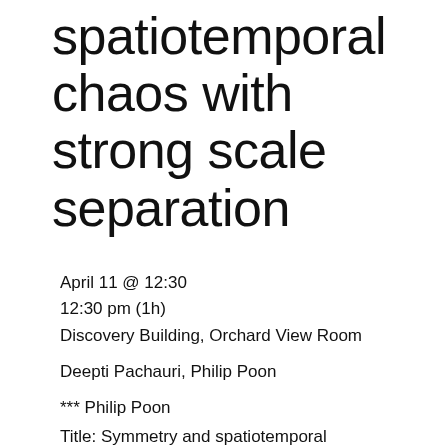spatiotemporal chaos with strong scale separation
April 11 @ 12:30
12:30 pm (1h)
Discovery Building, Orchard View Room
Deepti Pachauri, Philip Poon
*** Philip Poon
Title: Symmetry and spatiotemporal chaos with strong scale separation